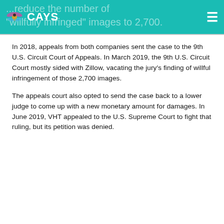CAYS ... reduce the number of "willfully infringed" images to 2,700.
In 2018, appeals from both companies sent the case to the 9th U.S. Circuit Court of Appeals. In March 2019, the 9th U.S. Circuit Court mostly sided with Zillow, vacating the jury's finding of willful infringement of those 2,700 images.
The appeals court also opted to send the case back to a lower judge to come up with a new monetary amount for damages. In June 2019, VHT appealed to the U.S. Supreme Court to fight that ruling, but its petition was denied.